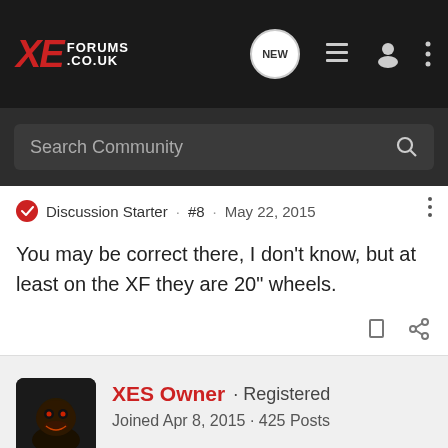XE FORUMS .CO.UK
Search Community
Discussion Starter · #8 · May 22, 2015
You may be correct there, I don't know, but at least on the XF they are 20" wheels.
XES Owner · Registered
Joined Apr 8, 2015 · 425 Posts